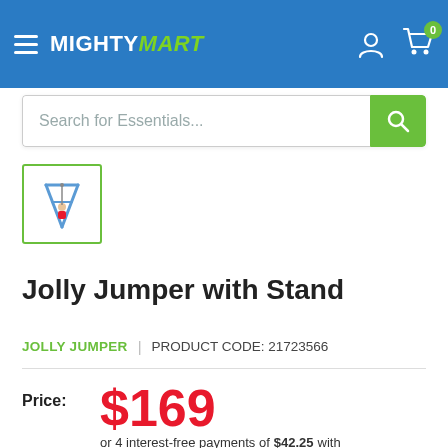MIGHTYMART — navigation header with hamburger menu, logo, account icon, and cart (0 items)
Search for Essentials...
[Figure (illustration): Small thumbnail image of the Jolly Jumper with Stand product, shown inside a green-bordered square thumbnail selector]
Jolly Jumper with Stand
JOLLY JUMPER | PRODUCT CODE: 21723566
Price: $169 or 4 interest-free payments of $42.25 with afterpay